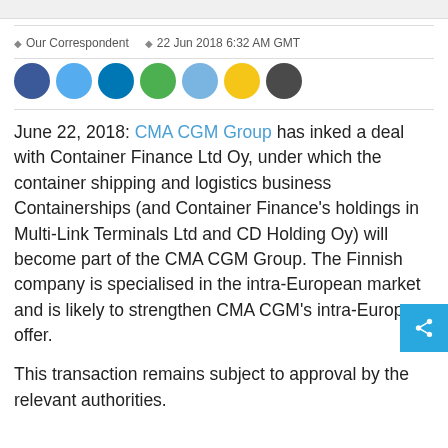Our Correspondent  22 Jun 2018 6:32 AM GMT
[Figure (other): Row of seven social media sharing icon circles: dark blue (Facebook), light blue (Twitter), medium blue (LinkedIn), green (Google+), sky blue (Email), yellow (YouTube/star), dark grey (more)]
June 22, 2018: CMA CGM Group has inked a deal with Container Finance Ltd Oy, under which the container shipping and logistics business Containerships (and Container Finance's holdings in Multi-Link Terminals Ltd and CD Holding Oy) will become part of the CMA CGM Group. The Finnish company is specialised in the intra-European market and is likely to strengthen CMA CGM's intra-European offer.
This transaction remains subject to approval by the relevant authorities.